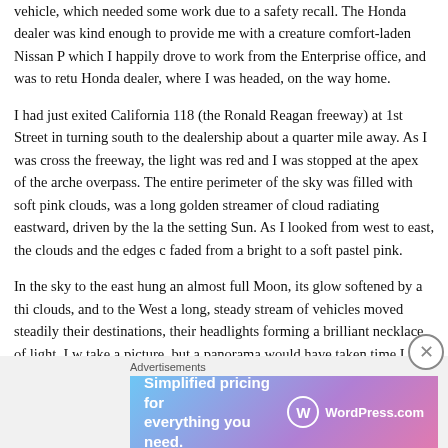vehicle, which needed some work due to a safety recall. The Honda dealer was kind enough to provide me with a creature comfort-laden Nissan P which I happily drove to work from the Enterprise office, and was to retu Honda dealer, where I was headed, on the way home.
I had just exited California 118 (the Ronald Reagan freeway) at 1st Street in turning south to the dealership about a quarter mile away. As I was cross the freeway, the light was red and I was stopped at the apex of the arche overpass. The entire perimeter of the sky was filled with soft pink clouds, was a long golden streamer of cloud radiating eastward, driven by the la the setting Sun. As I looked from west to east, the clouds and the edges c faded from a bright to a soft pastel pink.
In the sky to the east hung an almost full Moon, its glow softened by a thi clouds, and to the West a long, steady stream of vehicles moved steadily their destinations, their headlights forming a brilliant necklace of light. I w take a picture, but a panorama would have taken time I didn't think I hac through hundreds of pink sunset pictures I googled, hoping to find some least evocative, but nothing felt right, so I have nothing but my memory . experience.
The...
[Figure (other): Advertisement banner for WordPress.com with text 'Simplified pricing for everything you need.' and WordPress.com logo on a gradient purple-pink background.]